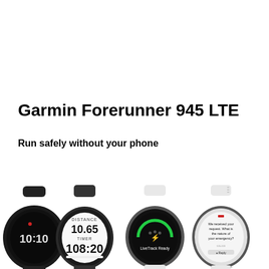Garmin Forerunner 945 LTE
Run safely without your phone
[Figure (photo): Four Garmin Forerunner 945 LTE smartwatches shown from the front and sides. Two black models on the left (one showing 10:10 time display, one showing distance 10.65 and timer 1:08:20), and two white models on the right (one showing LiveTrack Ready screen, one showing an emergency message screen reading 'We received your request. What is the nature of your emergency?').]